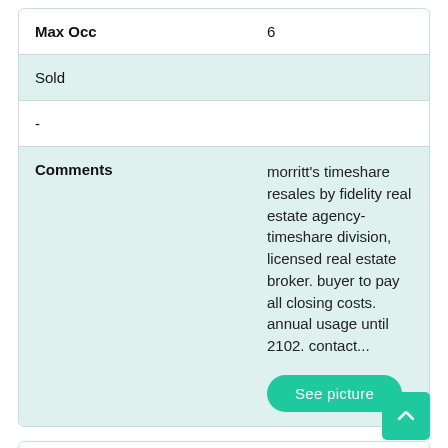| Field | Value |
| --- | --- |
| Max Occ | 6 |
| Sold |  |
| - |  |
| Comments | morritt's timeshare resales by fidelity real estate agency-timeshare division, licensed real estate broker. buyer to pay all closing costs. annual usage until 2102. contact... |
| Field | Value |
| --- | --- |
| Week | Float |
| color | Red |